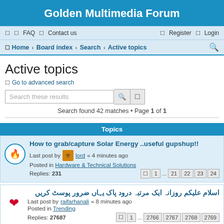Golden Multimedia Forum
FAQ  Contact us  Register  Login
Home › Board index › Search › Active topics
Active topics
Go to advanced search
Search these results
Search found 42 matches • Page 1 of 1
Topics
How to grab/capture Solar Energy ..useful gupshup!! Last post by lord « 4 minutes ago Posted in Hardware & Technical Solutions Replies: 231
اسلام علیکم روزانہ ایک مرتبہ درود پاک یہاں ضرور پوسٹ کریں Last post by raifarhanali « 8 minutes ago Posted in Trending Replies: 27687
Enigma2 Dreambox & VU+ Files Discussions and Solutions